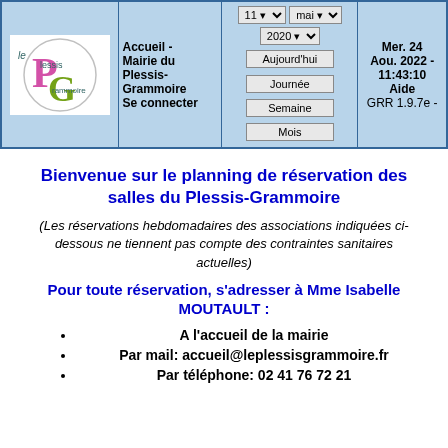[Figure (logo): Le Plessis-Grammoire municipality logo with stylized P and G letters in pink/green]
Accueil - Mairie du Plessis-Grammoire Se connecter
11 mai 2020 Aujourd'hui Journée Semaine Mois
Mer. 24 Aou. 2022 - 11:43:10 Aide GRR 1.9.7e -
Bienvenue sur le planning de réservation des salles du Plessis-Grammoire
(Les réservations hebdomadaires des associations indiquées ci-dessous ne tiennent pas compte des contraintes sanitaires actuelles)
Pour toute réservation, s'adresser à Mme Isabelle MOUTAULT :
A l'accueil de la mairie
Par mail: accueil@leplessisgrammoire.fr
Par téléphone: 02 41 76 72 21